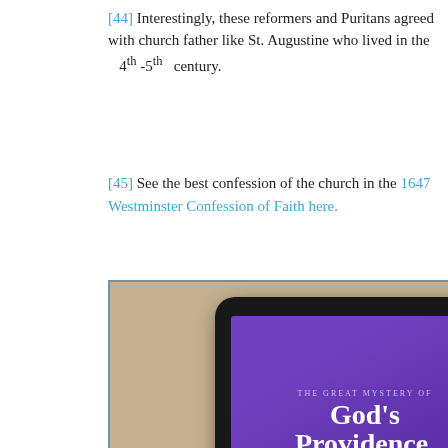[44] Interestingly, these reformers and Puritans agreed with church father like St. Augustine who lived in the 4th -5th century.
[45] See the best confession of the church in the 1647 Westminster Confession of Faith here.
[Figure (illustration): Book advertisement showing a tablet displaying 'The Great Mystery of God's Providence, and Other Works' by George Gifford, held by hands. Below the photo: 'Click here for our Newest Books!' on a blue background.]